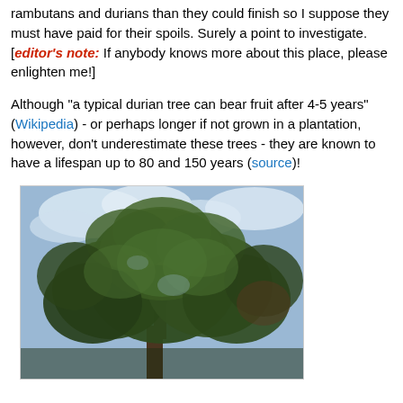rambutans and durians than they could finish so I suppose they must have paid for their spoils. Surely a point to investigate. [editor's note: If anybody knows more about this place, please enlighten me!]
Although "a typical durian tree can bear fruit after 4-5 years" (Wikipedia) - or perhaps longer if not grown in a plantation, however, don't underestimate these trees - they are known to have a lifespan up to 80 and 150 years (source)!
[Figure (photo): Photograph of a large durian tree canopy against a partly cloudy blue sky, showing the wide spreading branches and dense green foliage.]